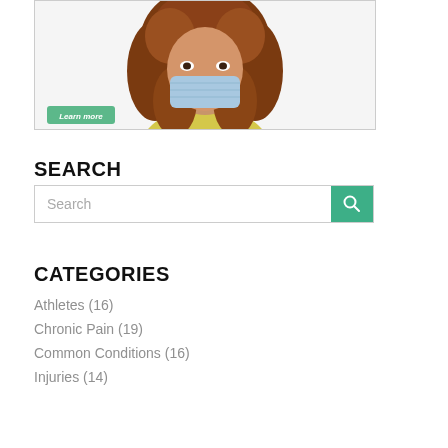[Figure (photo): Woman wearing a blue face mask with curly auburn hair, yellow top, with a green 'Learn more' button overlay at bottom left of the image.]
SEARCH
Search (search input field with teal search button)
CATEGORIES
Athletes (16)
Chronic Pain (19)
Common Conditions (16)
Injuries (14)